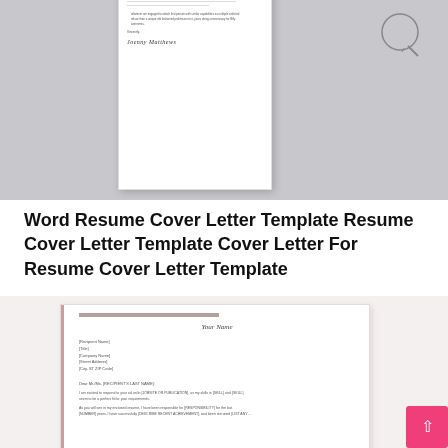[Figure (photo): Cover letter template document on gray background with circular paperclip badge in top right and a D watermark in center bottom]
Word Resume Cover Letter Template Resume Cover Letter Template Cover Letter For Resume Cover Letter Template
[Figure (photo): Cover letter template with pink/mauve accent bar at top and left side, showing fields: Your Name, Recipient Name, Title, Company Name, Street Address, City ST ZIP Code, Dear Mr./Ms. Recipient Last Name, and body text placeholders]